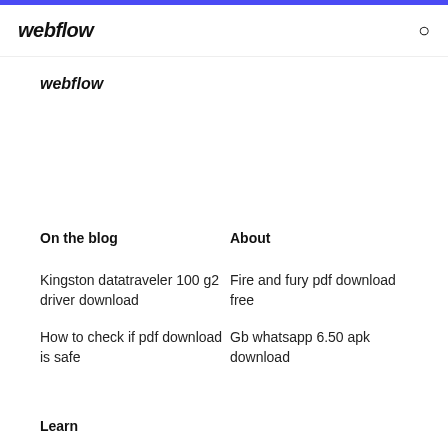webflow
webflow
On the blog
About
Kingston datatraveler 100 g2 driver download
Fire and fury pdf download free
How to check if pdf download is safe
Gb whatsapp 6.50 apk download
Learn